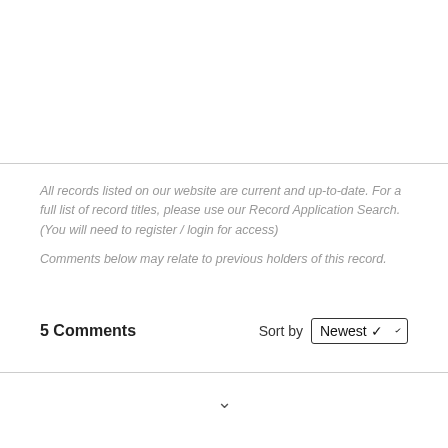All records listed on our website are current and up-to-date. For a full list of record titles, please use our Record Application Search. (You will need to register / login for access)
Comments below may relate to previous holders of this record.
5 Comments
Sort by Newest